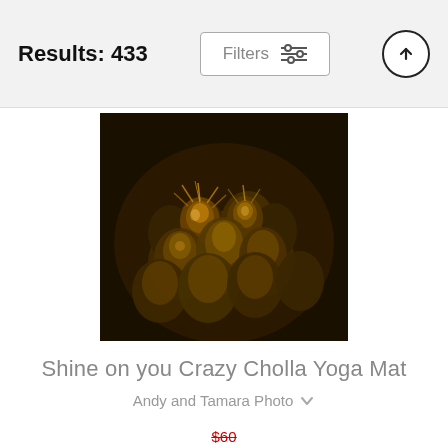Results: 433
Filters
[Figure (photo): Close-up photo of cholla cactus with golden/orange glowing spines against a dark background, displayed as a product image for a yoga mat]
Shine on you Crazy Cholla Yoga Mat
Andy and Tamara Photo
$60 (strikethrough original price)
$48
[Figure (photo): Bottom portion of a dark navy/charcoal yoga mat product image, partially visible]